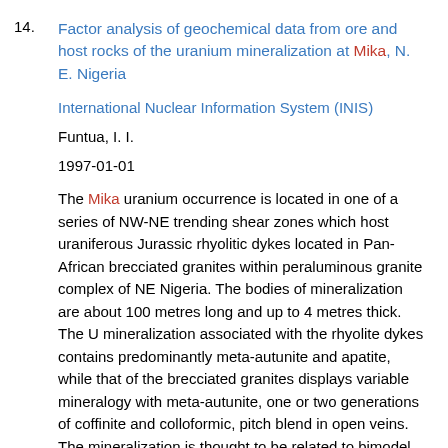14. Factor analysis of geochemical data from ore and host rocks of the uranium mineralization at Mika, N. E. Nigeria
International Nuclear Information System (INIS)
Funtua, I. I.
1997-01-01
The Mika uranium occurrence is located in one of a series of NW-NE trending shear zones which host uraniferous Jurassic rhyolitic dykes located in Pan-African brecciated granites within peraluminous granite complex of NE Nigeria. The bodies of mineralization are about 100 metres long and up to 4 metres thick. The U mineralization associated with the rhyolite dykes contains predominantly meta-autunite and apatite, while that of the brecciated granites displays variable mineralogy with meta-autunite, one or two generations of coffinite and colloformic, pitch blend in open veins. The mineralization is thought to be related to bimodel magmatism of the Burashika group and the reactivation of regional structures. Multivariate statistical evaluation of geochemical data of 28 elements/oxides in 296 host rock and mineralized samples from the surface and drill